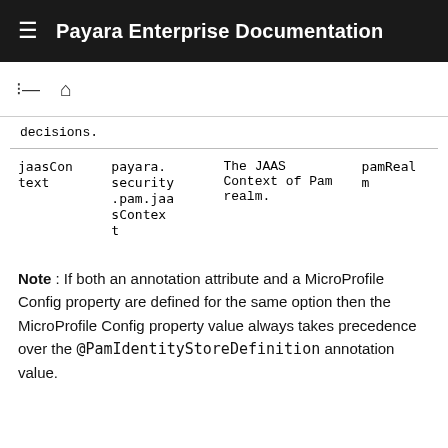Payara Enterprise Documentation
| decisions. |  |  |  |
| jaasContext | payara.security.pam.jaasContext | The JAAS Context of Pam realm. | pamRealm |
Note : If both an annotation attribute and a MicroProfile Config property are defined for the same option then the MicroProfile Config property value always takes precedence over the @PamIdentityStoreDefinition annotation value.